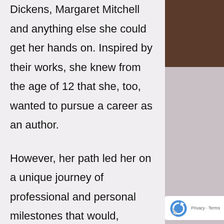Dickens, Margaret Mitchell and anything else she could get her hands on. Inspired by their works, she knew from the age of 12 that she, too, wanted to pursue a career as an author.
However, her path led her on a unique journey of professional and personal milestones that would, ultimately, greatly shape her writing career.
After acquiring an Associate in Arts (AA) degree in Interior
[Figure (photo): Right-side panel showing a partial photo with dark brown area at top and muted grey/lavender tones below, with a reCAPTCHA privacy badge overlaid at the bottom right.]